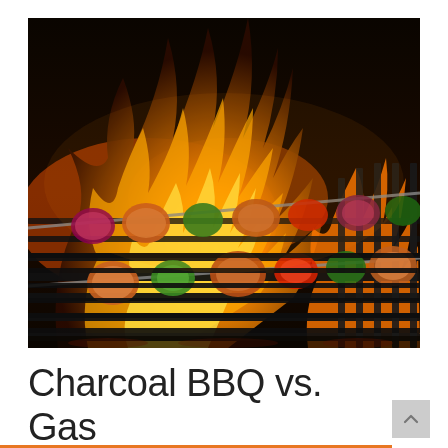[Figure (photo): Close-up photo of meat and vegetable kebab skewers on a charcoal grill with open flames in the background. Skewers include chunks of chicken or pork, red onion, green bell pepper, and red bell pepper, with dramatic orange flames visible above the grill grates.]
Charcoal BBQ vs. Gas